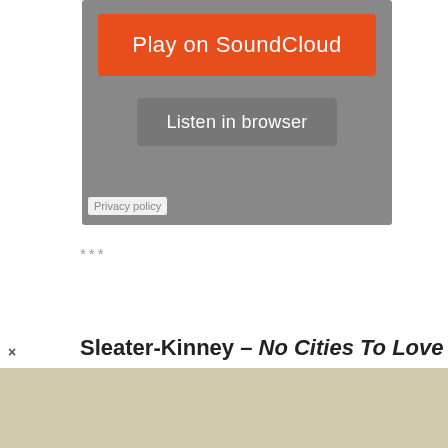[Figure (screenshot): SoundCloud embedded player widget with orange 'Play on SoundCloud' button and grey 'Listen in browser' button on dark grey background]
Privacy policy
***
Sleater-Kinney – No Cities To Love
Newly
[Figure (photo): Three women standing against a wooden background, partially visible from the shoulders up]
[Figure (other): Beige/tan advertisement banner at the bottom of the page with an X close button]